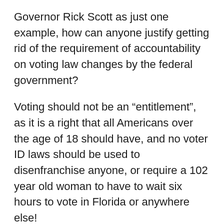Governor Rick Scott as just one example, how can anyone justify getting rid of the requirement of accountability on voting law changes by the federal government?
Voting should not be an “entitlement”, as it is a right that all Americans over the age of 18 should have, and no voter ID laws should be used to disenfranchise anyone, or require a 102 year old woman to have to wait six hours to vote in Florida or anywhere else!
Sadly, the Republican majority Supreme Court is likely to knock down the Voting Rights Act, which will stain the court of Chief Justice John Roberts, if it happens. Roberts’s reputation, improved by his support of ObamaCare last June, rides in the balance of what happens on this, as well as the